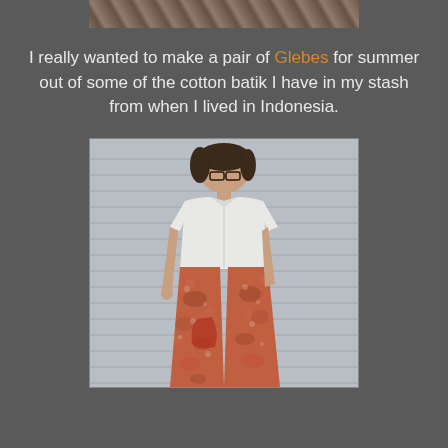[Figure (photo): Top strip showing partial image of batik fabric or textile pattern]
I really wanted to make a pair of Glebes for summer out of some of the cotton batik I have in my stash from when I lived in Indonesia.
[Figure (photo): Woman wearing a white short-sleeve cropped shirt and wide-leg patterned batik trousers (red/multicolor floral print), standing in front of grey horizontal siding wall, looking down, wearing glasses]